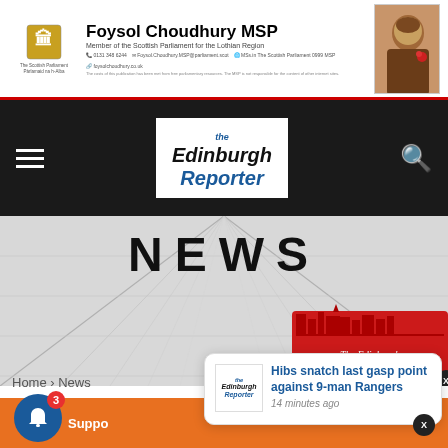Foysol Choudhury MSP — Member of the Scottish Parliament for the Lothian Region
[Figure (screenshot): The Edinburgh Reporter website navigation bar with logo on dark background]
[Figure (photo): NEWS hero image showing glass building facade with The Edinburgh Reporter watermark logo]
Home › News
Hibs snatch last gasp point against 9-man Rangers — 14 minutes ago
Liberton Primary School –